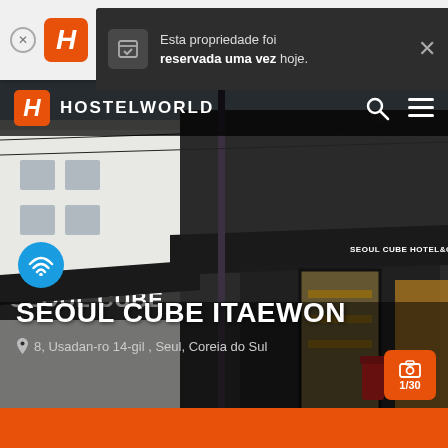[Figure (screenshot): Hostelworld mobile app browser bar with logo and 4 star rating]
Esta propriedade foi reservada uma vez hoje.
[Figure (photo): Seoul Cube Hotel & Cafe storefront photo with dark awnings and white brick building]
HOSTELWORLD
SEOUL CUBE ITAEWON
8, Usadan-ro 14-gil , Seul, Coreia do Sul
1/30